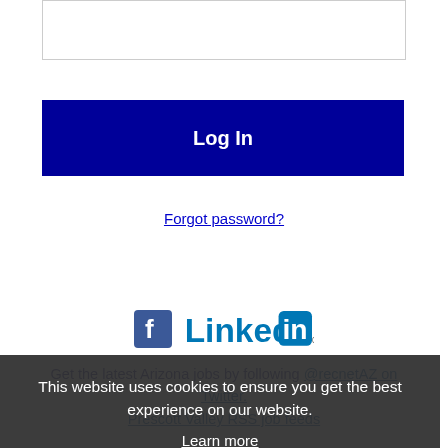[Figure (screenshot): Empty input text box at top of login form]
Log In
Forgot password?
[Figure (logo): Facebook and LinkedIn social login icons]
Get the latest Arizona jobs by following @recnetAZ on Twitter. Prescott Valley RSS job feeds
This website uses cookies to ensure you get the best experience on our website. Learn more
Got it!